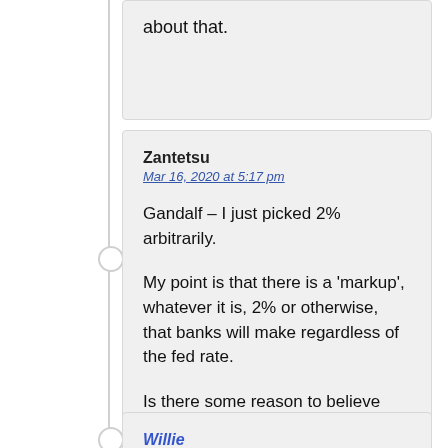about that.
Zantetsu
Mar 16, 2020 at 5:17 pm

Gandalf – I just picked 2% arbitrarily.

My point is that there is a 'markup', whatever it is, 2% or otherwise, that banks will make regardless of the fed rate.

Is there some reason to believe otherwise?
Willie